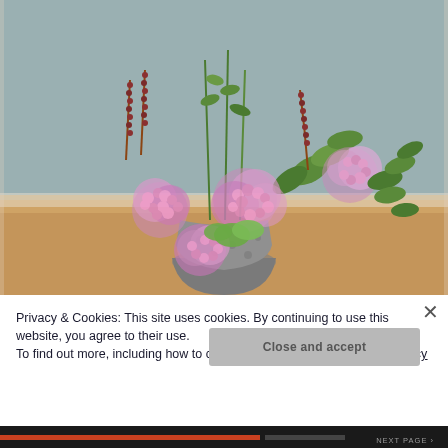[Figure (photo): A floral arrangement in a gray polka-dot vase sitting on a wooden surface against a light blue-gray wall. The bouquet contains pink spirea-like fluffy flowers, dark red catkin-like spikes, and green leafy stems.]
Privacy & Cookies: This site uses cookies. By continuing to use this website, you agree to their use.
To find out more, including how to control cookies, see here: Cookie Policy
Close and accept